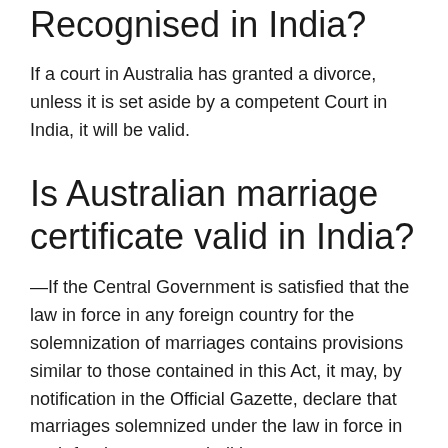Recognised in India?
If a court in Australia has granted a divorce, unless it is set aside by a competent Court in India, it will be valid.
Is Australian marriage certificate valid in India?
—If the Central Government is satisfied that the law in force in any foreign country for the solemnization of marriages contains provisions similar to those contained in this Act, it may, by notification in the Official Gazette, declare that marriages solemnized under the law in force in such foreign country shall be ...